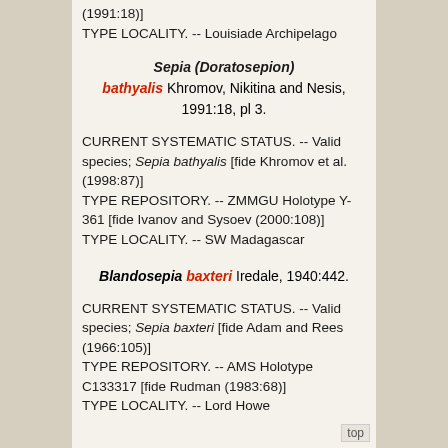(1991:18)]
TYPE LOCALITY. -- Louisiade Archipelago
Sepia (Doratosepion) bathyalis Khromov, Nikitina and Nesis, 1991:18, pl 3.
CURRENT SYSTEMATIC STATUS. -- Valid species; Sepia bathyalis [fide Khromov et al. (1998:87)]
TYPE REPOSITORY. -- ZMMGU Holotype Y-361 [fide Ivanov and Sysoev (2000:108)]
TYPE LOCALITY. -- SW Madagascar
Blandosepia baxteri Iredale, 1940:442.
CURRENT SYSTEMATIC STATUS. -- Valid species; Sepia baxteri [fide Adam and Rees (1966:105)]
TYPE REPOSITORY. -- AMS Holotype C133317 [fide Rudman (1983:68)]
TYPE LOCALITY. -- Lord Howe